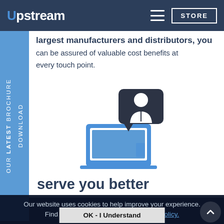Upstream | STORE
supply chain arrangements with the world's largest manufacturers and distributors, you can be assured of valuable cost benefits at every touch point.
[Figure (illustration): Blue laptop icon with dark speech bubble containing a white person/user icon, representing customer service or virtual support]
serve you better
We're a truly customer-facing business. So you can expect a consistently high standard of service from owning your issues to solving your problems, our impressive account managers guarantee you receive expert support at every step
Our website uses cookies to help improve your experience.
Find out more by reading our Cookies Policy.
OK - I Understand